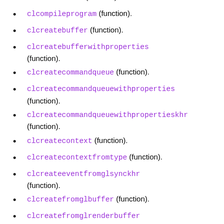clclonekernel (function).
clcompileprogram (function).
clcreatebuffer (function).
clcreatebufferwithproperties (function).
clcreatecommandqueue (function).
clcreatecommandqueuewithproperties (function).
clcreatecommandqueuewithpropertieskhr (function).
clcreatecontext (function).
clcreatecontextfromtype (function).
clcreateeventfromglsynckhr (function).
clcreatefromglbuffer (function).
clcreatefromglrenderbuffer (function).
clcreatefromgltexture (function).